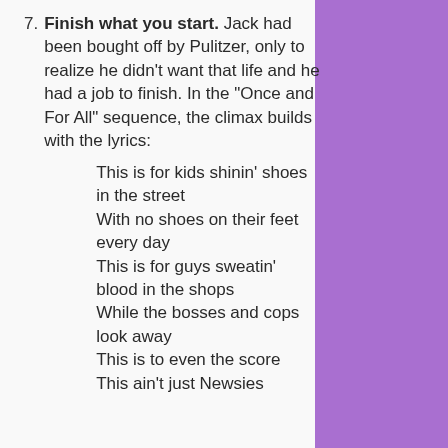7. Finish what you start. Jack had been bought off by Pulitzer, only to realize he didn't want that life and he had a job to finish. In the “Once and For All” sequence, the climax builds with the lyrics:
This is for kids shinin’ shoes in the street
With no shoes on their feet every day
This is for guys sweatin’ blood in the shops
While the bosses and cops look away
This is to even the score
This ain’t just Newsies